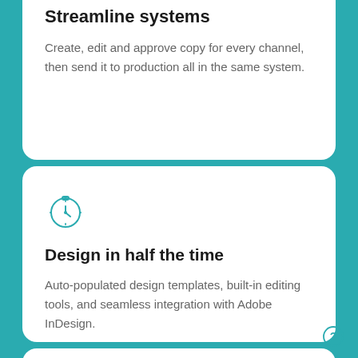Streamline systems
Create, edit and approve copy for every channel, then send it to production all in the same system.
[Figure (illustration): Teal stopwatch/clock icon]
Design in half the time
Auto-populated design templates, built-in editing tools, and seamless integration with Adobe InDesign.